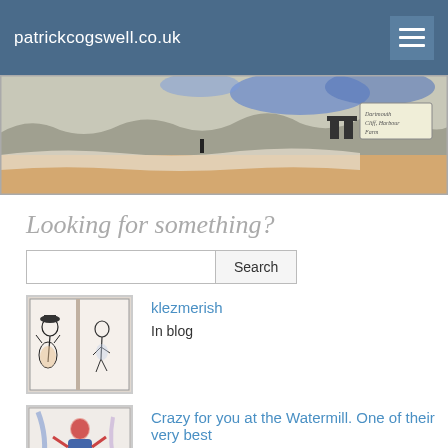patrickcogswell.co.uk
[Figure (illustration): Partial panoramic sketch/watercolor illustration showing a landscape with blue sky, gray rocky terrain, and an orange sandy foreground with dark outlines, and a handwritten label in upper right.]
Looking for something?
[Figure (screenshot): Search box with text input field and Search button]
[Figure (illustration): Thumbnail of an open sketchbook showing two illustrated musicians playing instruments, drawn in ink and watercolor style.]
klezmerish
In blog
[Figure (illustration): Thumbnail showing a theatrical performer in colorful costume, illustrated in ink and watercolor.]
Crazy for you at the Watermill. One of their very best
In blog